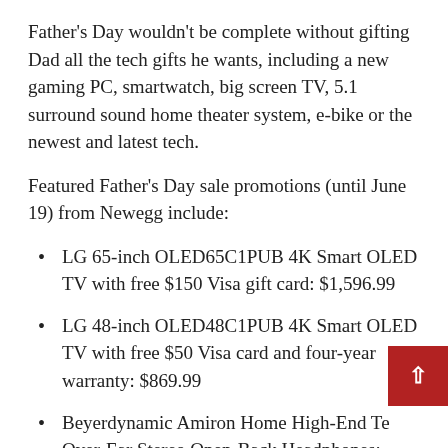Father's Day wouldn't be complete without gifting Dad all the tech gifts he wants, including a new gaming PC, smartwatch, big screen TV, 5.1 surround sound home theater system, e-bike or the newest and latest tech.
Featured Father's Day sale promotions (until June 19) from Newegg include:
LG 65-inch OLED65C1PUB 4K Smart OLED TV with free $150 Visa gift card: $1,596.99
LG 48-inch OLED48C1PUB 4K Smart OLED TV with free $50 Visa card and four-year warranty: $869.99
Beyerdynamic Amiron Home High-End Tesla Over-Ear Stereo Open-Back Headphones: $319.00